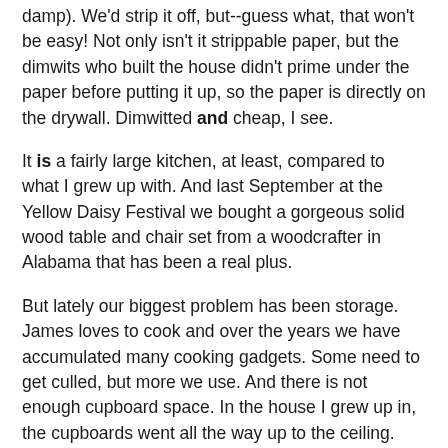damp). We'd strip it off, but--guess what, that won't be easy! Not only isn't it strippable paper, but the dimwits who built the house didn't prime under the paper before putting it up, so the paper is directly on the drywall. Dimwitted and cheap, I see.
It is a fairly large kitchen, at least, compared to what I grew up with. And last September at the Yellow Daisy Festival we bought a gorgeous solid wood table and chair set from a woodcrafter in Alabama that has been a real plus.
But lately our biggest problem has been storage. James loves to cook and over the years we have accumulated many cooking gadgets. Some need to get culled, but more we use. And there is not enough cupboard space. In the house I grew up in, the cupboards went all the way up to the ceiling. Ours have a stupid “soffit” or whatever that flat board is across the top of the cabinets. You’re supposed to put a wall border or something decorative up there. As far as I’m concerned it’s wasted space.
We also like to stock up on groceries when there are sales